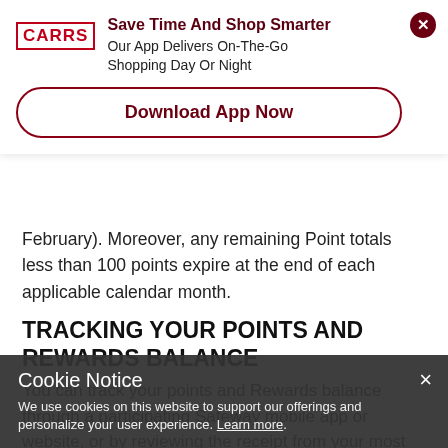[Figure (screenshot): Carrs grocery app promotion banner with logo, tagline, and Download App Now button]
February). Moreover, any remaining Point totals less than 100 points expire at the end of each applicable calendar month.
TRACKING YOUR POINTS AND REWARDS BALANCE
You can track your points and Rewards balance through a participating Safeway mobile app or website, or by reviewing the receipt from your most recent purchase.
RETURN/EXCHANGE POLICY
Cookie Notice
We use cookies on this website to support our offerings and personalize your user experience. Learn more.